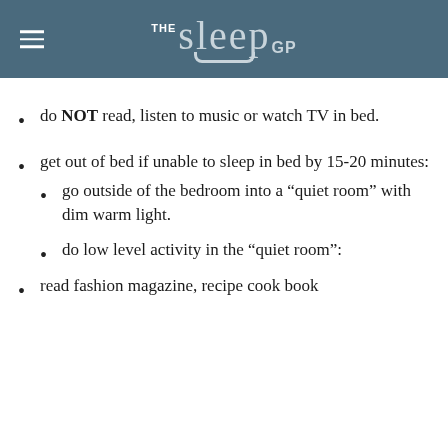THE sleep GP
do NOT read, listen to music or watch TV in bed.
get out of bed if unable to sleep in bed by 15-20 minutes:
go outside of the bedroom into a “quiet room” with dim warm light.
do low level activity in the “quiet room”:
read fashion magazine, recipe cook book